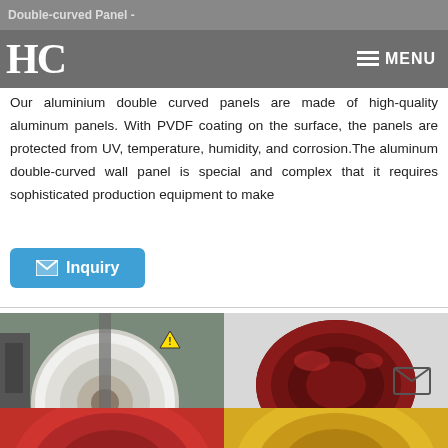Double-curved Panel -
Our aluminium double curved panels are made of high-quality aluminum panels. With PVDF coating on the surface, the panels are protected from UV, temperature, humidity, and corrosion.The aluminum double-curved wall panel is special and complex that it requires sophisticated production equipment to make
[Figure (photo): Inquiry button with envelope icon, blue rounded rectangle]
[Figure (photo): Two photographs of aluminum coil rolls: left shows a large white coil roll in a factory setting, right shows dark red/maroon coil rolls stacked on pallets]
[Figure (photo): Bottom row showing partial views of colored aluminum coils: left is red, right is yellow/gold]